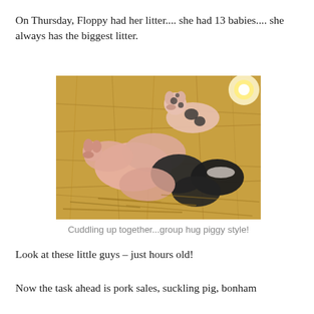On Thursday, Floppy had her litter.... she had 13 babies.... she always has the biggest litter.
[Figure (photo): Photo of a litter of newborn piglets cuddling together on straw/hay. Piglets are various colors: pink, spotted black and pink, and dark/black. They are piled together in a nest of golden straw.]
Cuddling up together...group hug piggy style!
Look at these little guys – just hours old!
Now the task ahead is pork sales, suckling pig, bonham